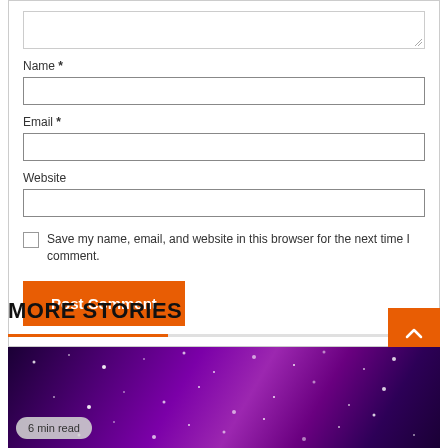Name *
Email *
Website
Save my name, email, and website in this browser for the next time I comment.
Post Comment
MORE STORIES
6 min read
[Figure (photo): Purple galaxy/space bokeh background with sparkling lights]